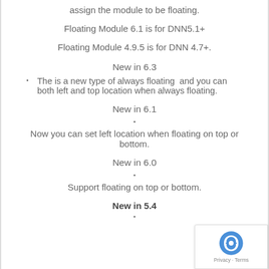assign the module to be floating.
Floating Module 6.1 is for DNN5.1+
Floating Module 4.9.5 is for DNN 4.7+.
New in 6.3
The is a new type of always floating  and you can both left and top location when always floating.
New in 6.1
Now you can set left location when floating on top or bottom.
New in 6.0
Support floating on top or bottom.
New in 5.4